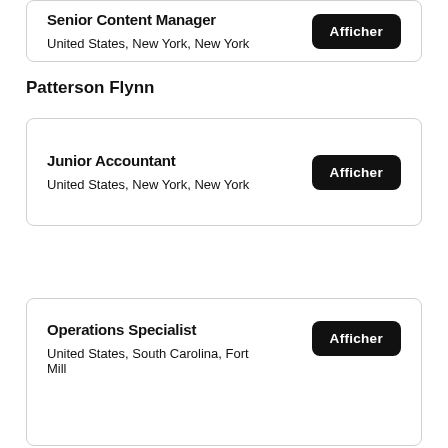Senior Content Manager — United States, New York, New York
Patterson Flynn
Junior Accountant — United States, New York, New York
Operations Specialist — United States, South Carolina, Fort Mill